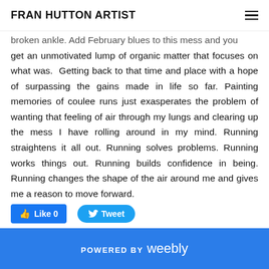FRAN HUTTON ARTIST
broken ankle. Add February blues to this mess and you get an unmotivated lump of organic matter that focuses on what was.  Getting back to that time and place with a hope of surpassing the gains made in life so far. Painting memories of coulee runs just exasperates the problem of wanting that feeling of air through my lungs and clearing up the mess I have rolling around in my mind. Running straightens it all out. Running solves problems. Running works things out. Running builds confidence in being. Running changes the shape of the air around me and gives me a reason to move forward.
[Figure (other): Like 0 (Facebook Like button) and Tweet (Twitter Tweet button)]
POWERED BY weebly